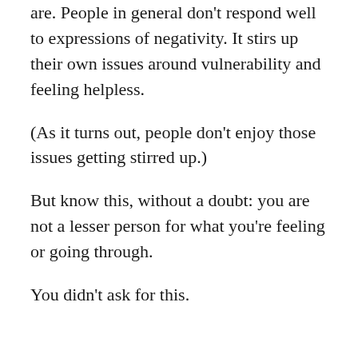are. People in general don't respond well to expressions of negativity. It stirs up their own issues around vulnerability and feeling helpless.
(As it turns out, people don't enjoy those issues getting stirred up.)
But know this, without a doubt: you are not a lesser person for what you're feeling or going through.
You didn't ask for this.